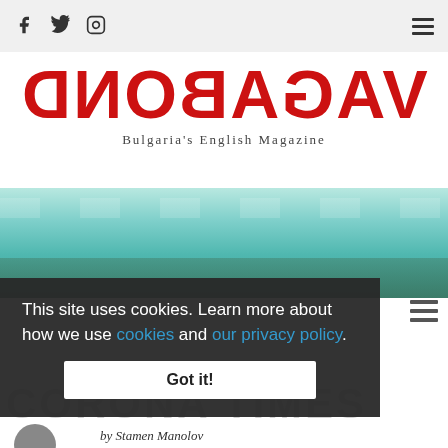Social icons (Facebook, Twitter, Instagram) and hamburger menu
VAGABOND
Bulgaria's English Magazine
[Figure (photo): Aerial view of a rectangular swimming pool with turquoise water, surrounded by paving and greenery]
This site uses cookies. Learn more about how we use cookies and our privacy policy.
Got it!
CORONA TIMES
by Stamen Manolov